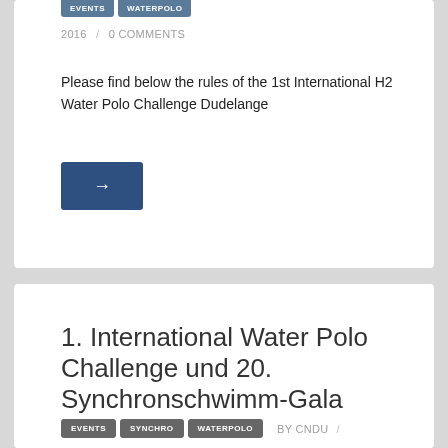EVENTS  WATERPOLO  BY CNDU / ON 23 JUNE
2016  /  0 COMMENTS
Please find below the rules of the 1st International H2 Water Polo Challenge Dudelange
[Figure (other): Blue arrow button pointing right]
1. International Water Polo Challenge und 20. Synchronschwimm-Gala
EVENTS  SYNCHRO  WATERPOLO  BY CNDU /